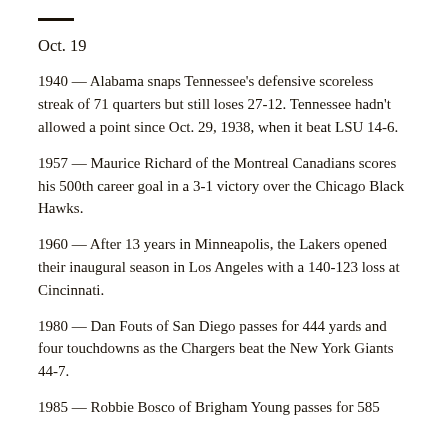—
Oct. 19
1940 — Alabama snaps Tennessee's defensive scoreless streak of 71 quarters but still loses 27-12. Tennessee hadn't allowed a point since Oct. 29, 1938, when it beat LSU 14-6.
1957 — Maurice Richard of the Montreal Canadians scores his 500th career goal in a 3-1 victory over the Chicago Black Hawks.
1960 — After 13 years in Minneapolis, the Lakers opened their inaugural season in Los Angeles with a 140-123 loss at Cincinnati.
1980 — Dan Fouts of San Diego passes for 444 yards and four touchdowns as the Chargers beat the New York Giants 44-7.
1985 — Robbie Bosco of Brigham Young passes for 585